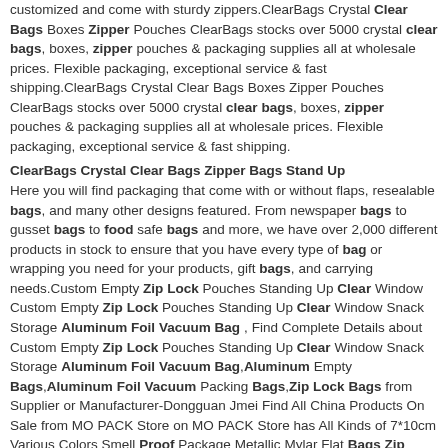customized and come with sturdy zippers.ClearBags Crystal Clear Bags Boxes Zipper Pouches ClearBags stocks over 5000 crystal clear bags, boxes, zipper pouches & packaging supplies all at wholesale prices. Flexible packaging, exceptional service & fast shipping.ClearBags Crystal Clear Bags Boxes Zipper Pouches ClearBags stocks over 5000 crystal clear bags, boxes, zipper pouches & packaging supplies all at wholesale prices. Flexible packaging, exceptional service & fast shipping.
ClearBags Crystal Clear Bags Zipper Bags Stand Up
Here you will find packaging that come with or without flaps, resealable bags, and many other designs featured. From newspaper bags to gusset bags to food safe bags and more, we have over 2,000 different products in stock to ensure that you have every type of bag or wrapping you need for your products, gift bags, and carrying needs.Custom Empty Zip Lock Pouches Standing Up Clear Window Custom Empty Zip Lock Pouches Standing Up Clear Window Snack Storage Aluminum Foil Vacuum Bag , Find Complete Details about Custom Empty Zip Lock Pouches Standing Up Clear Window Snack Storage Aluminum Foil Vacuum Bag,Aluminum Empty Bags,Aluminum Foil Vacuum Packing Bags,Zip Lock Bags from Supplier or Manufacturer-Dongguan Jmei Find All China Products On Sale from MO PACK Store on MO PACK Store has All Kinds of 7*10cm Various Colors Smell Proof Package Metallic Mylar Flat Bags Zip Lock Heat Sealable Aluminum Pouch for Tea Candy Packaging,500PCS/ Lot Plastic